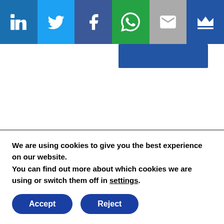[Figure (screenshot): Social sharing bar with LinkedIn, Twitter, Facebook, WhatsApp, Email, and crown/bookmark icons]
[Figure (illustration): Plasma ball / electric sphere with pink center and blue electric tendrils on black background]
MOST POPULAR POSTS
Top 10 YouTube science channels to enlighten and entertain
We are using cookies to give you the best experience on our website.
You can find out more about which cookies we are using or switch them off in settings.
Accept
Reject